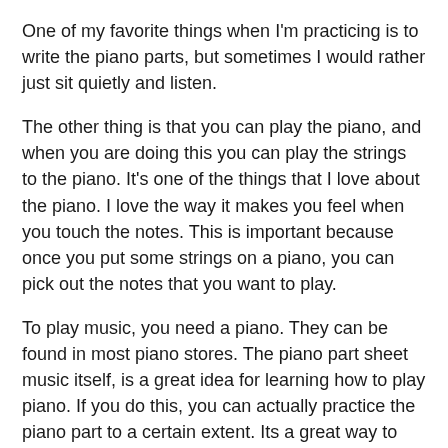One of my favorite things when I'm practicing is to write the piano parts, but sometimes I would rather just sit quietly and listen.
The other thing is that you can play the piano, and when you are doing this you can play the strings to the piano. It's one of the things that I love about the piano. I love the way it makes you feel when you touch the notes. This is important because once you put some strings on a piano, you can pick out the notes that you want to play.
To play music, you need a piano. They can be found in most piano stores. The piano part sheet music itself, is a great idea for learning how to play piano. If you do this, you can actually practice the piano part to a certain extent. Its a great way to get to know the piano keys and their names which can help you when you're learning how to play the piano.